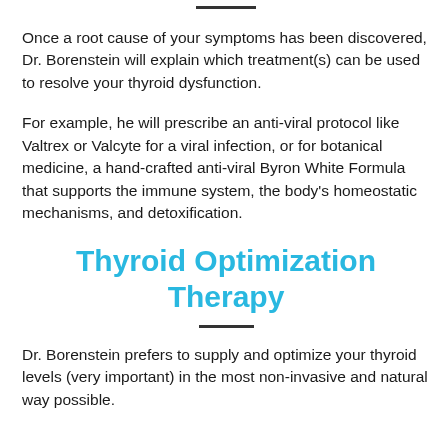Once a root cause of your symptoms has been discovered, Dr. Borenstein will explain which treatment(s) can be used to resolve your thyroid dysfunction.
For example, he will prescribe an anti-viral protocol like Valtrex or Valcyte for a viral infection, or for botanical medicine, a hand-crafted anti-viral Byron White Formula that supports the immune system, the body's homeostatic mechanisms, and detoxification.
Thyroid Optimization Therapy
Dr. Borenstein prefers to supply and optimize your thyroid levels (very important) in the most non-invasive and natural way possible.